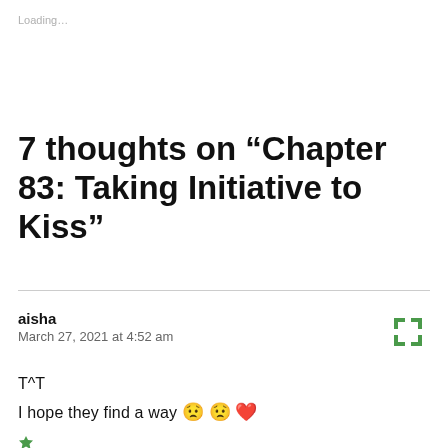Loading…
7 thoughts on “Chapter 83: Taking Initiative to Kiss”
aisha
March 27, 2021 at 4:52 am
T^T
I hope they find a way 😟 😟 ❤